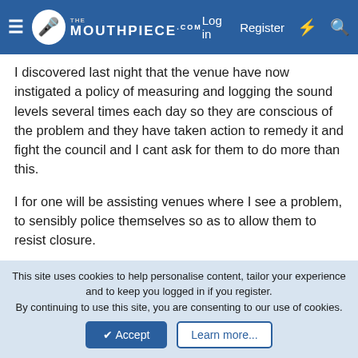The Mouthpiece - Log in  Register
I discovered last night that the venue have now instigated a policy of measuring and logging the sound levels several times each day so they are conscious of the problem and they have taken action to remedy it and fight the council and I cant ask for them to do more than this.

I for one will be assisting venues where I see a problem, to sensibly police themselves so as to allow them to resist closure.
Hsop
Member
May 31, 2022  #6
This site uses cookies to help personalise content, tailor your experience and to keep you logged in if you register.
By continuing to use this site, you are consenting to our use of cookies.